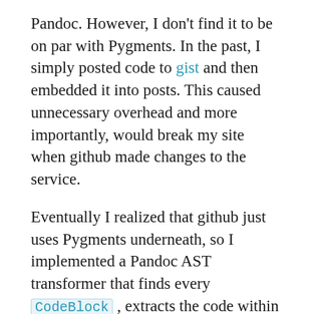Pandoc. However, I don't find it to be on par with Pygments. In the past, I simply posted code to gist and then embedded it into posts. This caused unnecessary overhead and more importantly, would break my site when github made changes to the service.
Eventually I realized that github just uses Pygments underneath, so I implemented a Pandoc AST transformer that finds every CodeBlock , extracts the code within it, passes it to Pygments, and replaces that CodeBlock with a RawBlock containing the raw HTML output by Pygments. I also implemented a way to specify an optional caption which is shown under the code block. I